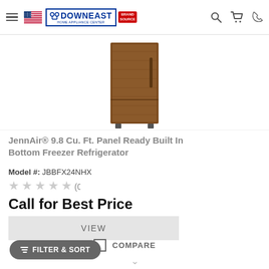[Figure (logo): Downeast Home Appliance Center logo with Brand Source badge and US flag, navigation icons for search, cart, and phone]
[Figure (photo): JennAir panel-ready built-in bottom freezer refrigerator product image showing wood panel door, tall narrow unit]
JennAir® 9.8 Cu. Ft. Panel Ready Built In Bottom Freezer Refrigerator
Model #: JBBFX24NHX
★★★★★ (0)
Call for Best Price
VIEW
COMPARE
FILTER & SORT